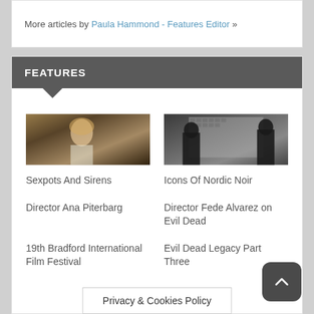More articles by Paula Hammond - Features Editor »
FEATURES
[Figure (photo): Blonde woman in vintage style, Sexpots And Sirens article thumbnail]
Sexpots And Sirens
[Figure (photo): Two silhouetted figures in front of a wall covered in photos, Icons Of Nordic Noir article thumbnail]
Icons Of Nordic Noir
Director Ana Piterbarg
Director Fede Alvarez on Evil Dead
19th Bradford International Film Festival
Evil Dead Legacy Part Three
Privacy & Cookies Policy